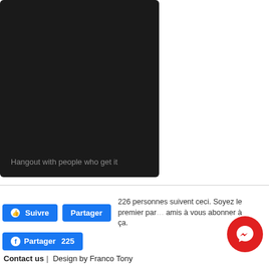[Figure (screenshot): Dark black/charcoal rectangle representing a screenshot or video with text 'Hangout with people who get it' at the bottom]
226 personnes suivent ceci. Soyez le premier par... amis à vous abonner à ça.
Contact us | Design by Franco Tony